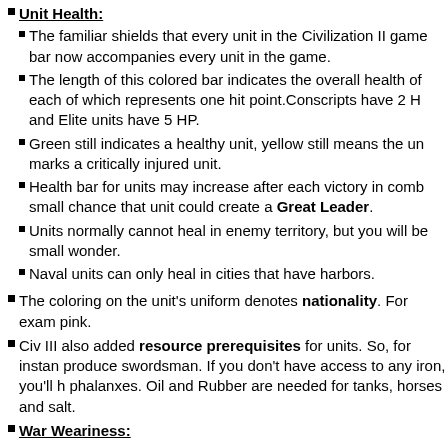Unit Health:
The familiar shields that every unit in the Civilization II game bar now accompanies every unit in the game.
The length of this colored bar indicates the overall health of each of which represents one hit point.Conscripts have 2 H and Elite units have 5 HP.
Green still indicates a healthy unit, yellow still means the un marks a critically injured unit.
Health bar for units may increase after each victory in comb small chance that unit could create a Great Leader.
Units normally cannot heal in enemy territory, but you will be small wonder.
Naval units can only heal in cities that have harbors.
The coloring on the unit's uniform denotes nationality. For exam pink.
Civ III also added resource prerequisites for units. So, for instan produce swordsman. If you don't have access to any iron, you'll h phalanxes. Oil and Rubber are needed for tanks, horses and salt.
War Weariness: